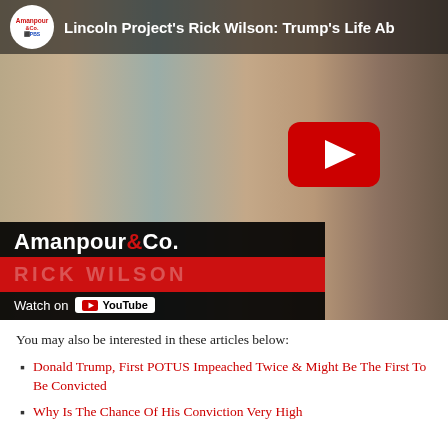[Figure (screenshot): YouTube video thumbnail showing a bald man with glasses and a beard, set in a home office with bookshelves. Amanpour & Co. PBS logo in top-left. Title reads 'Lincoln Project's Rick Wilson: Trump's Life Ab'. YouTube play button centered. Lower-left overlay: 'Amanpour &Co.' in white/black bar, red bar with 'RICK WILSON', 'Watch on YouTube' below.]
You may also be interested in these articles below:
Donald Trump, First POTUS Impeached Twice & Might Be The First To Be Convicted
Why Is The Chance Of His Conviction Very High